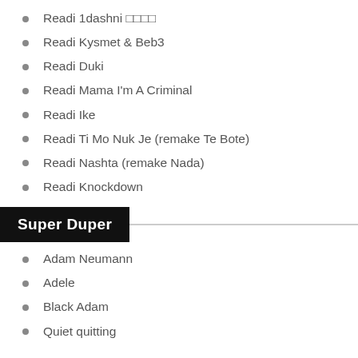Readi 1dashni 𝗕𝗥𝗘𝗔𝗞
Readi Kysmet & Beb3
Readi Duki
Readi Mama I'm A Criminal
Readi Ike
Readi Ti Mo Nuk Je (remake Te Bote)
Readi Nashta (remake Nada)
Readi Knockdown
Super Duper
Adam Neumann
Adele
Black Adam
Quiet quitting